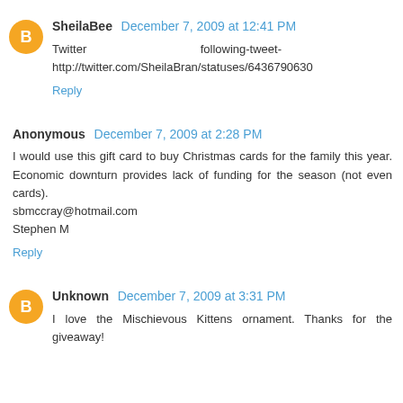SheilaBee December 7, 2009 at 12:41 PM
Twitter following-tweet- http://twitter.com/SheilaBran/statuses/6436790630
Reply
Anonymous December 7, 2009 at 2:28 PM
I would use this gift card to buy Christmas cards for the family this year. Economic downturn provides lack of funding for the season (not even cards). sbmccray@hotmail.com Stephen M
Reply
Unknown December 7, 2009 at 3:31 PM
I love the Mischievous Kittens ornament. Thanks for the giveaway!